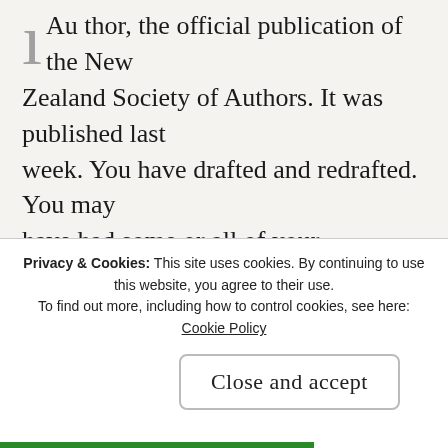Author, the official publication of the New Zealand Society of Authors. It was published last week. You have drafted and redrafted. You may have had some or all of your manuscript assessed. Finally, with relief and incredulity, you have typed The End and poured yourself a glass of...
Share this:
Twitter  Tumblr  Facebook  Email  More
Privacy & Cookies: This site uses cookies. By continuing to use this website, you agree to their use. To find out more, including how to control cookies, see here: Cookie Policy
Close and accept